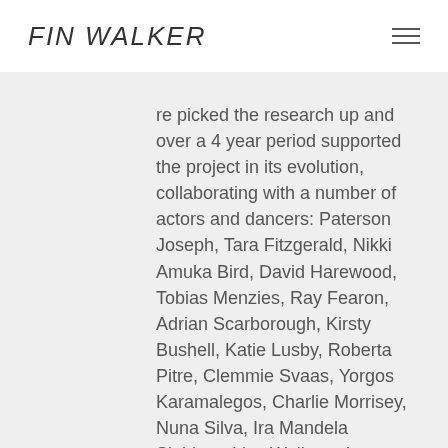FIN WALKER
re picked the research up and over a 4 year period supported the project in its evolution, collaborating with a number of actors and dancers: Paterson Joseph, Tara Fitzgerald, Nikki Amuka Bird, David Harewood, Tobias Menzies, Ray Fearon, Adrian Scarborough, Kirsty Bushell, Katie Lusby, Roberta Pitre, Clemmie Svaas, Yorgos Karamalegos, Charlie Morrisey, Nuna Silva, Ira Mandela Siobhan, Lisa Welham, Lex Shrapnel, Elliot Cowan.
In 2015 Toni Racklin at the Barbican supported the creation of Act 1 of Macbeth with Tara Fitzgerald, Cal Macaninch, Nick Holder, Joe Allessi, Ira Mandela Siobhan, Yorgos